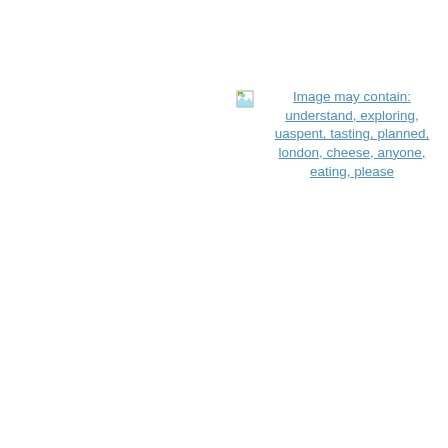[Figure (photo): Broken image placeholder with alt text: Image may contain: understand, exploring, uaspent, tasting, planned, london, cheese, anyone, eating, please]